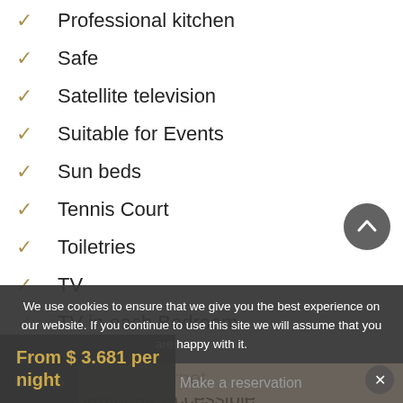Professional kitchen
Safe
Satellite television
Suitable for Events
Sun beds
Tennis Court
Toiletries
TV
TV in each Bedroom
Washer
Wheelchair Accessible
Wine cellar
Wireless Internet
We use cookies to ensure that we give you the best experience on our website. If you continue to use this site we will assume that you are happy with it.
Ok  No
Make a reservation
From $ 3.681 per night